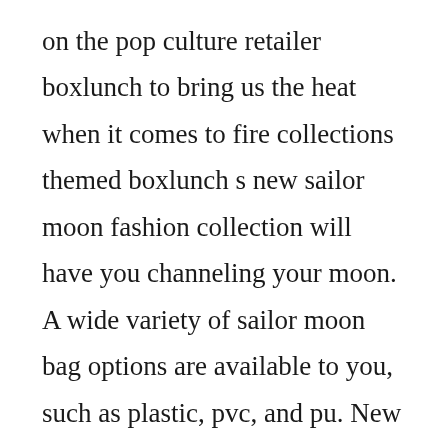on the pop culture retailer boxlunch to bring us the heat when it comes to fire collections themed boxlunch s new sailor moon fashion collection will have you channeling your moon. A wide variety of sailor moon bag options are available to you, such as plastic, pvc, and pu. New and used items, cars, real estate, jobs, services, vacation rentals and more virtually anywhere in toronto gta. Please feel free to post sailor moon relevant articles, news, fan art or anything else related to the sailor senshi. Rate boxlunch gifts offers boxlunch is a great gift shop alternative to